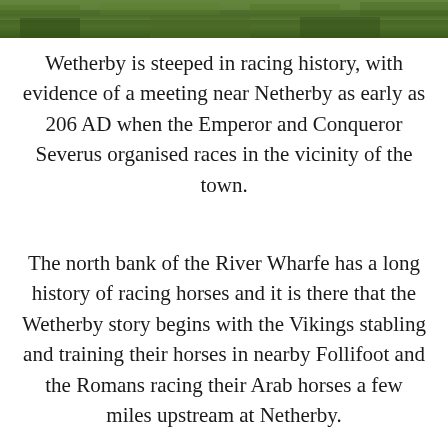[Figure (photo): A strip of green outdoor scenery, likely a racecourse or grassy field, at the top of the page.]
Wetherby is steeped in racing history, with evidence of a meeting near Netherby as early as 206 AD when the Emperor and Conqueror Severus organised races in the vicinity of the town.
The north bank of the River Wharfe has a long history of racing horses and it is there that the Wetherby story begins with the Vikings stabling and training their horses in nearby Follifoot and the Romans racing their Arab horses a few miles upstream at Netherby.
Over 1600 years later a meeting was held at Park Hill on Tuesday 15th February 1842, while